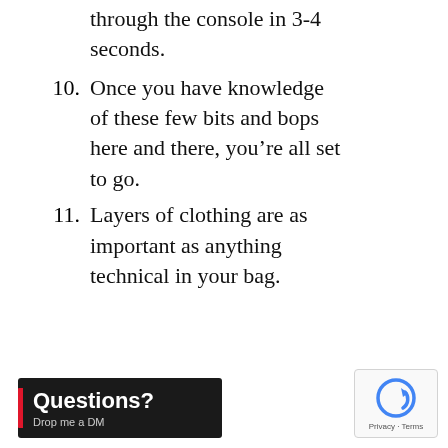through the console in 3-4 seconds.
10. Once you have knowledge of these few bits and bops here and there, you’re all set to go.
11. Layers of clothing are as important as anything technical in your bag.
[Figure (other): Questions? Drop me a DM banner with red left bar on dark background]
[Figure (other): reCAPTCHA Privacy - Terms badge]